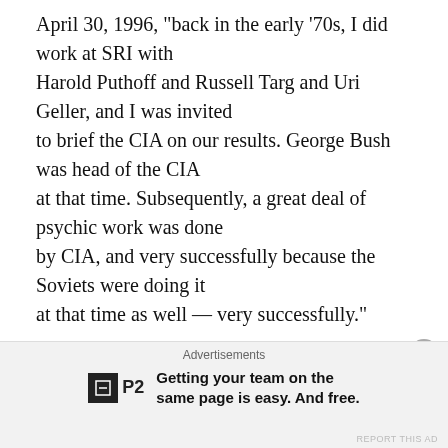April 30, 1996, "back in the early '70s, I did work at SRI with Harold Puthoff and Russell Targ and Uri Geller, and I was invited to brief the CIA on our results. George Bush was head of the CIA at that time. Subsequently, a great deal of psychic work was done by CIA, and very successfully because the Soviets were doing it at that time as well — very successfully."
Mitchell spins a cocoon of mystical yarns as outrageously far-fetched as any of his SRI cronies. He claims to have
Advertisements
[Figure (logo): P2 logo: dark square with white symbol and bold P2 text beside it]
Getting your team on the same page is easy. And free.